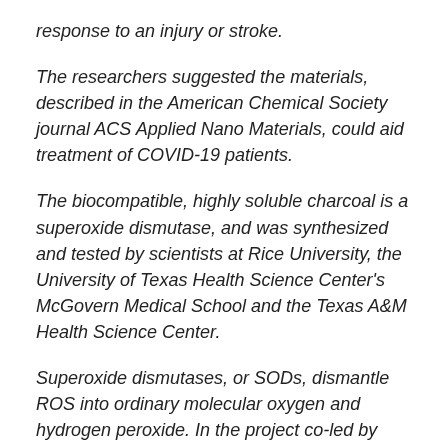response to an injury or stroke.
The researchers suggested the materials, described in the American Chemical Society journal ACS Applied Nano Materials, could aid treatment of COVID-19 patients.
The biocompatible, highly soluble charcoal is a superoxide dismutase, and was synthesized and tested by scientists at Rice University, the University of Texas Health Science Center's McGovern Medical School and the Texas A&M Health Science Center.
Superoxide dismutases, or SODs, dismantle ROS into ordinary molecular oxygen and hydrogen peroxide. In the project co-led by Rice chemist James Tour, previous materials were successfully tested for their ability to activate the process, including graphene quantum dots drawn from coal and